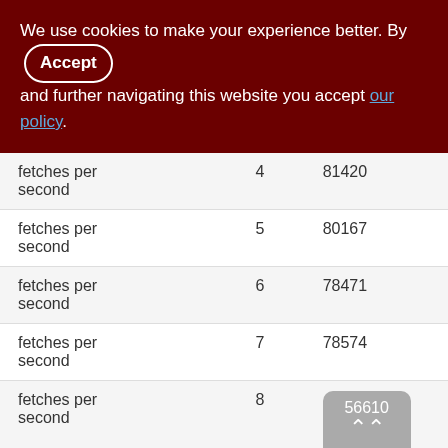We use cookies to make your experience better. By accepting and further navigating this website you accept our policy.
| fetches per second | 4 | 81420 |
| fetches per second | 5 | 80167 |
| fetches per second | 6 | 78471 |
| fetches per second | 7 | 78574 |
| fetches per second | 8 | 56610 |
| fetches per second | 9 | 76324 |